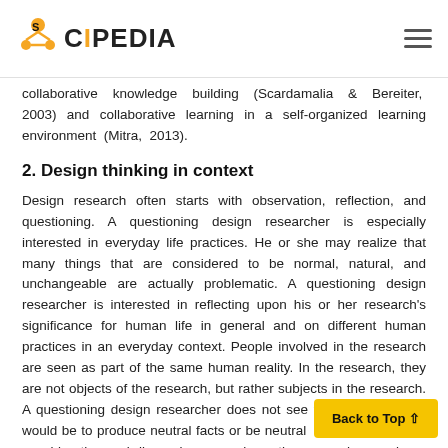SCIPEDIA
collaborative knowledge building (Scardamalia & Bereiter, 2003) and collaborative learning in a self-organized learning environment (Mitra, 2013).
2. Design thinking in context
Design research often starts with observation, reflection, and questioning. A questioning design researcher is especially interested in everyday life practices. He or she may realize that many things that are considered to be normal, natural, and unchangeable are actually problematic. A questioning design researcher is interested in reflecting upon his or her research's significance for human life in general and on different human practices in an everyday context. People involved in the research are seen as part of the same human reality. In the research, they are not objects of the research, but rather subjects in the research. A questioning design researcher does not see that his or her job would be to produce neutral facts or be neutral consideration and discussions on value a the research are a large part of the research. An inquiry by a